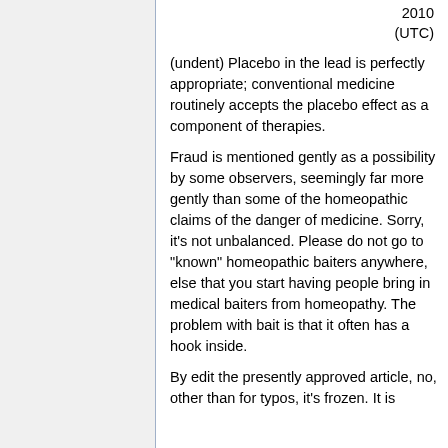2010 (UTC)
(undent) Placebo in the lead is perfectly appropriate; conventional medicine routinely accepts the placebo effect as a component of therapies.
Fraud is mentioned gently as a possibility by some observers, seemingly far more gently than some of the homeopathic claims of the danger of medicine. Sorry, it's not unbalanced. Please do not go to "known" homeopathic baiters anywhere, else that you start having people bring in medical baiters from homeopathy. The problem with bait is that it often has a hook inside.
By edit the presently approved article, no, other than for typos, it's frozen. It is